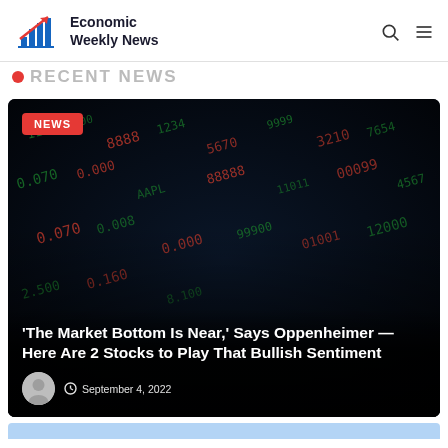Economic Weekly News
RECENT NEWS
[Figure (photo): Dark stock market ticker board with red and green numbers, blurred motion effect, used as background for article card]
'The Market Bottom Is Near,' Says Oppenheimer — Here Are 2 Stocks to Play That Bullish Sentiment
September 4, 2022